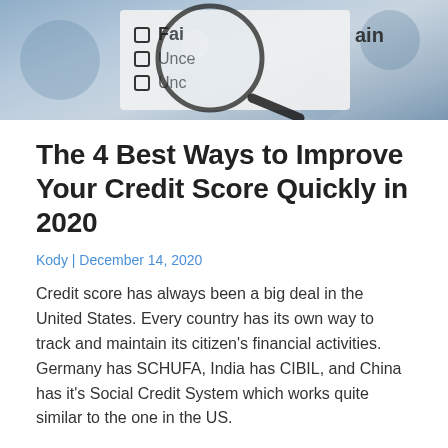[Figure (photo): Magnifying glass over a checklist showing words 'Fair', 'Uncertain', partially visible, on a dark background with bokeh effect]
The 4 Best Ways to Improve Your Credit Score Quickly in 2020
Kody | December 14, 2020
Credit score has always been a big deal in the United States. Every country has its own way to track and maintain its citizen's financial activities. Germany has SCHUFA, India has CIBIL, and China has it's Social Credit System which works quite similar to the one in the US.
As far as credit scores are concerned, has anything changed in 2020? Well, there are no major changes in the credit score rating system, however, there is a growing number of Americans who wish to improve their credit